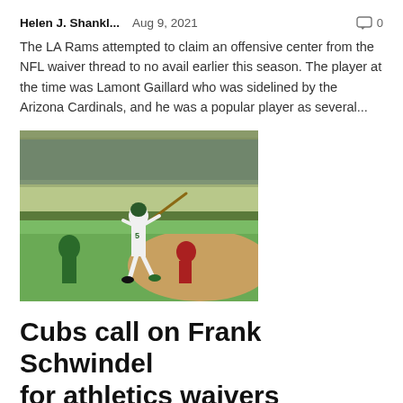Helen J. Shankl...  Aug 9, 2021  💬 0
The LA Rams attempted to claim an offensive center from the NFL waiver thread to no avail earlier this season. The player at the time was Lamont Gaillard who was sidelined by the Arizona Cardinals, and he was a popular player as several...
[Figure (photo): Baseball player in white uniform swinging bat at stadium with green-uniformed crowd in background]
Cubs call on Frank Schwindel for athletics waivers
Helen J. Shankl...  Jul 18, 2021  💬 0
Cubs announced claiming the first goal Frank Schwindel waiver in